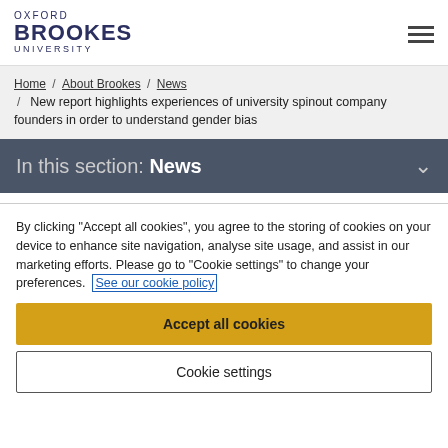OXFORD BROOKES UNIVERSITY
Home / About Brookes / News / New report highlights experiences of university spinout company founders in order to understand gender bias
In this section: News
By clicking "Accept all cookies", you agree to the storing of cookies on your device to enhance site navigation, analyse site usage, and assist in our marketing efforts. Please go to "Cookie settings" to change your preferences. See our cookie policy
Accept all cookies
Cookie settings